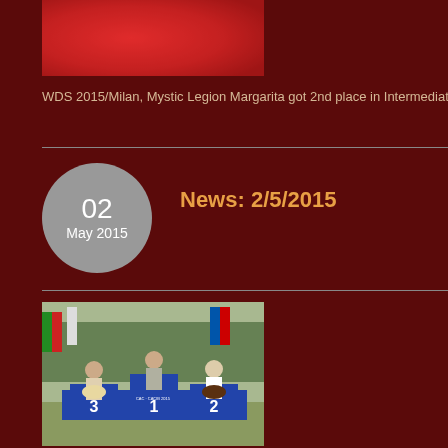[Figure (photo): Red background photo, partially cropped at top of page]
WDS 2015/Milan, Mystic Legion Margarita got 2nd place in Intermediate
News: 2/5/2015
02 May 2015
[Figure (photo): Dog show photo with dogs and handlers on a podium with positions 1, 2, 3 marked. International flags visible in background. Blue podium with CAC-CACIB 2015 text.]